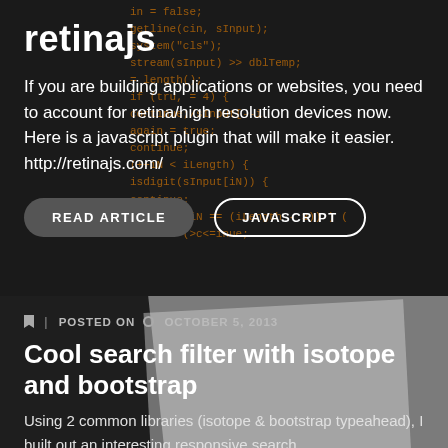retinajs
If you are building applications or websites, you need to account for retina/high resolution devices now. Here is a javascript plugin that will make it easier. http://retinajs.com/
READ ARTICLE
JAVASCRIPT
POSTED ON OCTOBER 5, 2013
Cool search filter with isotope and bootstrap
Using 2 common libraries (isotope & bootstrap typeahead), I built out an interesting responsive search